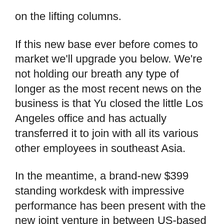on the lifting columns.
If this new base ever before comes to market we'll upgrade you below. We're not holding our breath any type of longer as the most recent news on the business is that Yu closed the little Los Angeles office and has actually transferred it to join with all its various other employees in southeast Asia.
In the meantime, a brand-new $399 standing workdesk with impressive performance has been present with the new joint venture in between US-based iMovR and also China-based Eureka, the i1 electric standing workdesk. While limited in size and also shade options, it has taken the mantle away from StandDesk's long-ago condition as the